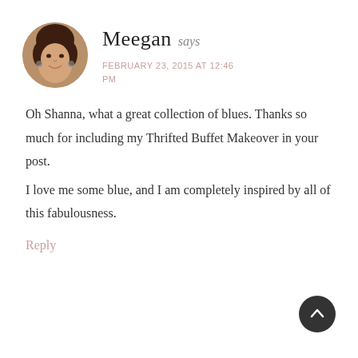[Figure (photo): Circular avatar photo of a woman with dark hair, smiling, wearing earrings.]
Meegan says
FEBRUARY 23, 2015 AT 12:46 PM
Oh Shanna, what a great collection of blues. Thanks so much for including my Thrifted Buffet Makeover in your post.
I love me some blue, and I am completely inspired by all of this fabulousness.
Reply